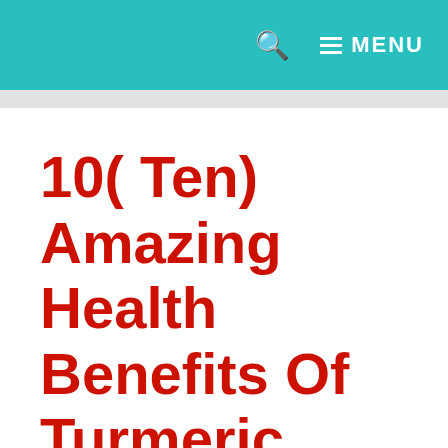MENU
10( Ten) Amazing Health Benefits Of Turmeric